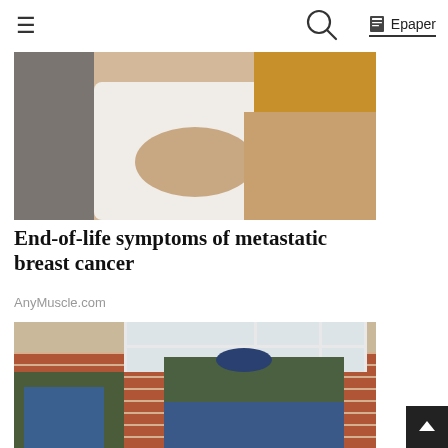☰   [search icon]   📄 Epaper
[Figure (photo): Woman in white tank top checking her chest/breast area with both hands, grey background]
End-of-life symptoms of metastatic breast cancer
AnyMuscle.com
[Figure (photo): Two workers bending over doing masonry/brickwork repair on the exterior of a brick house with windows visible in the background]